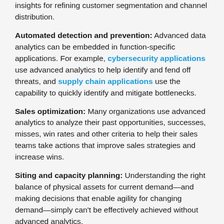insights for refining customer segmentation and channel distribution.
Automated detection and prevention: Advanced data analytics can be embedded in function-specific applications. For example, cybersecurity applications use advanced analytics to help identify and fend off threats, and supply chain applications use the capability to quickly identify and mitigate bottlenecks.
Sales optimization: Many organizations use advanced analytics to analyze their past opportunities, successes, misses, win rates and other criteria to help their sales teams take actions that improve sales strategies and increase wins.
Siting and capacity planning: Understanding the right balance of physical assets for current demand—and making decisions that enable agility for changing demand—simply can't be effectively achieved without advanced analytics.
Emerging risks: Risk management, compliance and audit functions are using advanced analytics to identify emerging